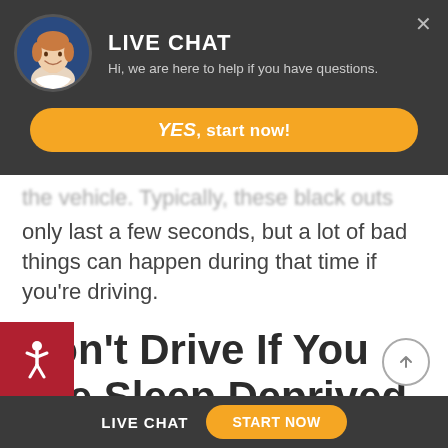[Figure (screenshot): Live chat popup overlay on a legal website. Dark gray header with circular avatar photo of a smiling woman, bold white 'LIVE CHAT' title, subtitle text 'Hi, we are here to help if you have questions.' and an orange 'YES, start now!' button.]
the vehicle. Typically, these black outs only last a few seconds, but a lot of bad things can happen during that time if you're driving.
Don't Drive If You Are Sleep Deprived in Florida
LIVE CHAT   START NOW